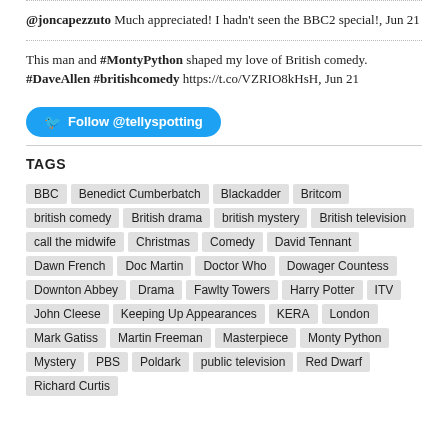@joncapezzuto Much appreciated! I hadn't seen the BBC2 special!, Jun 21
This man and #MontyPython shaped my love of British comedy. #DaveAllen #britishcomedy https://t.co/VZRIO8kHsH, Jun 21
Follow @tellyspotting
TAGS
BBC
Benedict Cumberbatch
Blackadder
Britcom
british comedy
British drama
british mystery
British television
call the midwife
Christmas
Comedy
David Tennant
Dawn French
Doc Martin
Doctor Who
Dowager Countess
Downton Abbey
Drama
Fawlty Towers
Harry Potter
ITV
John Cleese
Keeping Up Appearances
KERA
London
Mark Gatiss
Martin Freeman
Masterpiece
Monty Python
Mystery
PBS
Poldark
public television
Red Dwarf
Richard Curtis